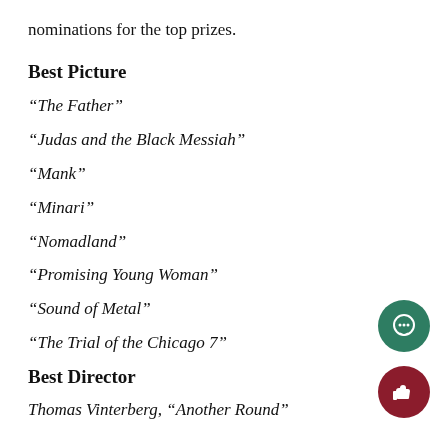nominations for the top prizes.
Best Picture
“The Father”
“Judas and the Black Messiah”
“Mank”
“Minari”
“Nomadland”
“Promising Young Woman”
“Sound of Metal”
“The Trial of the Chicago 7”
Best Director
Thomas Vinterberg, “Another Round”